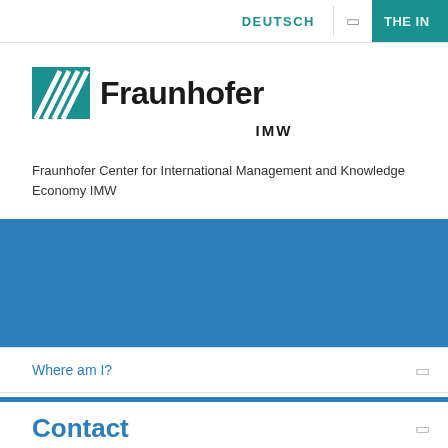DEUTSCH  THE IN
[Figure (logo): Fraunhofer IMW logo with green striped square icon and bold text]
Fraunhofer Center for International Management and Knowledge Economy IMW
[Figure (photo): Blue banner image area]
Where am I?
Contact